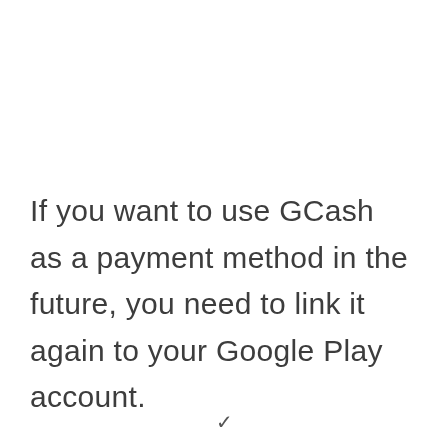If you want to use GCash as a payment method in the future, you need to link it again to your Google Play account.